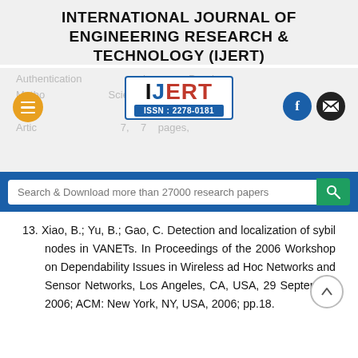INTERNATIONAL JOURNAL OF ENGINEERING RESEARCH & TECHNOLOGY (IJERT)
[Figure (logo): IJERT logo with ISSN: 2278-0181, flanked by orange hamburger menu button, Facebook and email buttons; faded background text about Authentication and Passing Methods, Scientific World Journal, Article, 7 pages]
Search & Download more than 27000 research papers
13. Xiao, B.; Yu, B.; Gao, C. Detection and localization of sybil nodes in VANETs. In Proceedings of the 2006 Workshop on Dependability Issues in Wireless ad Hoc Networks and Sensor Networks, Los Angeles, CA, USA, 29 September 2006; ACM: New York, NY, USA, 2006; pp.18.